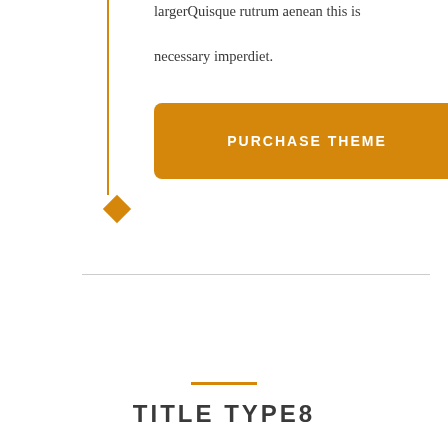largerQuisque rutrum aenean this is necessary imperdiet.
[Figure (illustration): Orange vertical line with a diamond shape at the bottom, serving as a decorative element on the left side of the content.]
PURCHASE THEME
TITLE TYPE8